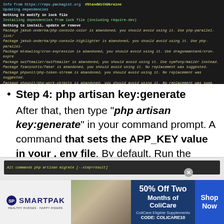[Figure (screenshot): Terminal window showing composer install output with package deprecation warnings and generating optimized autoload files message. Dark background with colored text.]
Step 4: php artisan key:generate
After that, then type “php artisan key:generate” in your command prompt. A command that sets the APP_KEY value in your . env file. By default, Run the following command to have the database tables migrated for you so that you can begin using the system.
[Figure (screenshot): Partial screenshot of another terminal or browser window visible at the bottom of the content area.]
[Figure (other): SmartPak advertisement banner: 50% Off Two Months of ColiCare, ColiCare Eligible Supplements, CODE: COLICARE10. Shop Now button. Horse and rider image.]